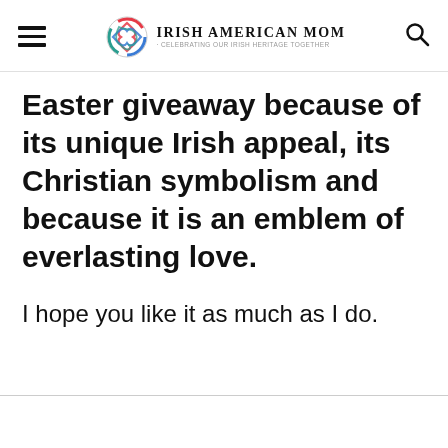Irish American Mom - Celebrating Our Irish Heritage Together
Easter giveaway because of its unique Irish appeal, its Christian symbolism and because it is an emblem of everlasting love.
I hope you like it as much as I do.